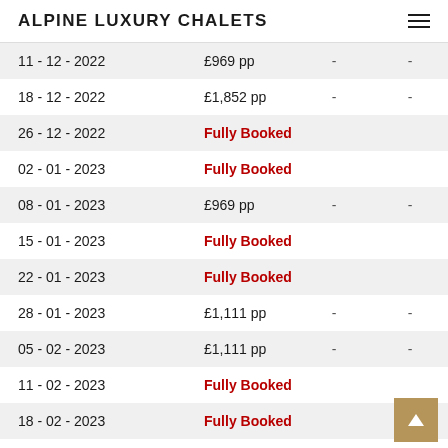ALPINE LUXURY CHALETS
| Date | Price |  |  |
| --- | --- | --- | --- |
| 11 - 12 - 2022 | £969 pp | - | - |
| 18 - 12 - 2022 | £1,852 pp | - | - |
| 26 - 12 - 2022 | Fully Booked |  |  |
| 02 - 01 - 2023 | Fully Booked |  |  |
| 08 - 01 - 2023 | £969 pp | - | - |
| 15 - 01 - 2023 | Fully Booked |  |  |
| 22 - 01 - 2023 | Fully Booked |  |  |
| 28 - 01 - 2023 | £1,111 pp | - | - |
| 05 - 02 - 2023 | £1,111 pp | - | - |
| 11 - 02 - 2023 | Fully Booked |  |  |
| 18 - 02 - 2023 | Fully Booked |  |  |
| 26 - 02 - 2023 | £1,282 pp |  |  |